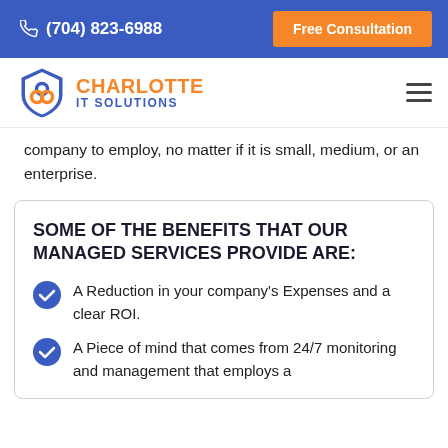(704) 823-6988   Free Consultation
[Figure (logo): Charlotte IT Solutions shield logo with orange and blue colors]
company to employ, no matter if it is small, medium, or an enterprise.
SOME OF THE BENEFITS THAT OUR MANAGED SERVICES PROVIDE ARE:
A Reduction in your company's Expenses and a clear ROI.
A Piece of mind that comes from 24/7 monitoring and management that employs a